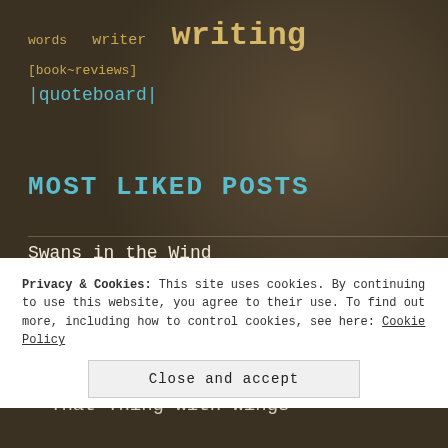words  writer  writing  [book~reviews]
|quoteboard|
MOST LIKED POSTS
Swans in the Wind
After
Complicated
That Thing with Wings
Privacy & Cookies: This site uses cookies. By continuing to use this website, you agree to their use. To find out more, including how to control cookies, see here: Cookie Policy
Close and accept